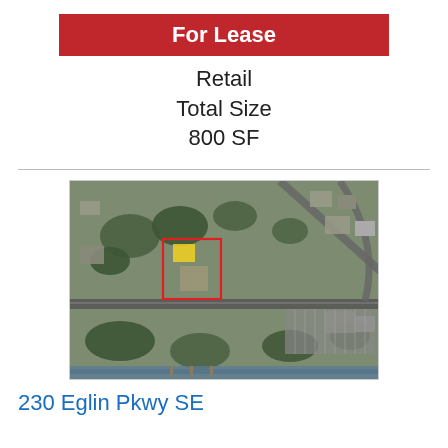For Lease
Retail
Total Size
800 SF
[Figure (map): Aerial satellite view of property location at 230 Eglin Pkwy SE, with a red rectangle highlighting the property parcel and a yellow marker inside it.]
230 Eglin Pkwy SE